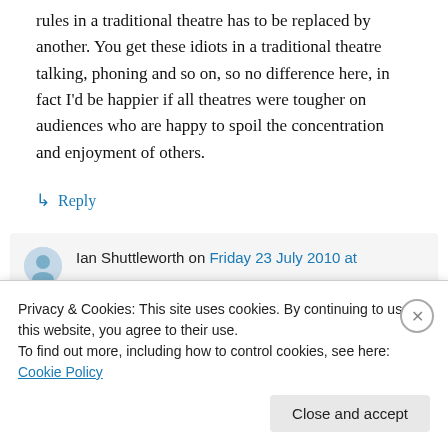rules in a traditional theatre has to be replaced by another. You get these idiots in a traditional theatre talking, phoning and so on, so no difference here, in fact I'd be happier if all theatres were tougher on audiences who are happy to spoil the concentration and enjoyment of others.
↳ Reply
Ian Shuttleworth on Friday 23 July 2010 at
Privacy & Cookies: This site uses cookies. By continuing to use this website, you agree to their use.
To find out more, including how to control cookies, see here: Cookie Policy
Close and accept